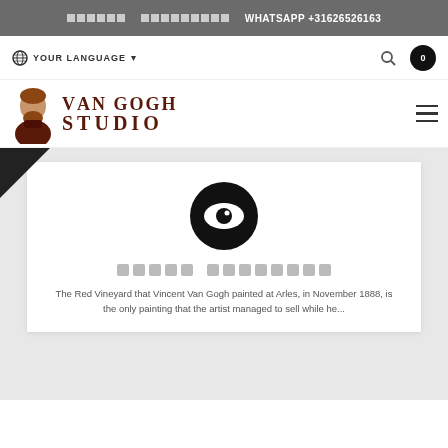[redacted] [redacted] WHATSAPP +31626526163
YOUR LANGUAGE
[Figure (logo): Van Gogh Studio logo with portrait illustration and text]
[Figure (illustration): Eye icon in black circle]
[redacted text boxes]
The Red Vineyard that Vincent Van Gogh painted at Arles, in November 1888, is the only painting that the artist managed to sell while he...